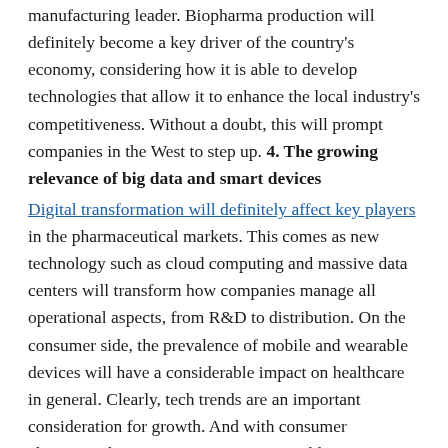manufacturing leader. Biopharma production will definitely become a key driver of the country's economy, considering how it is able to develop technologies that allow it to enhance the local industry's competitiveness. Without a doubt, this will prompt companies in the West to step up.
4. The growing relevance of big data and smart devices
Digital transformation will definitely affect key players in the pharmaceutical markets. This comes as new technology such as cloud computing and massive data centers will transform how companies manage all operational aspects, from R&D to distribution. On the consumer side, the prevalence of mobile and wearable devices will have a considerable impact on healthcare in general. Clearly, tech trends are an important consideration for growth. And with consumer electronics becoming even more accessible every year, pharmaceutical companies will have to align their products with the increasing need to improve the delivery of healthcare services through devices people use every